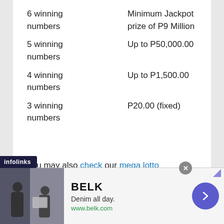| Match | Prize |
| --- | --- |
| 6 winning numbers | Minimum Jackpot prize of P9 Million |
| 5 winning numbers | Up to P50,000.00 |
| 4 winning numbers | Up to P1,500.00 |
| 3 winning numbers | P20.00 (fixed) |
You may also check our mega lotto result history for the past lotto draws. Check out the all pcso lotto schedule for the lotto draws, the
[Figure (screenshot): Advertisement banner for BELK. Shows brand name BELK in bold, tagline 'Denim all day.' and URL www.belk.com. Left side shows a fashion photo with two female figures. Right side has a purple circular arrow button. Close button (x) appears at top. Infolinks badge in lower left.]